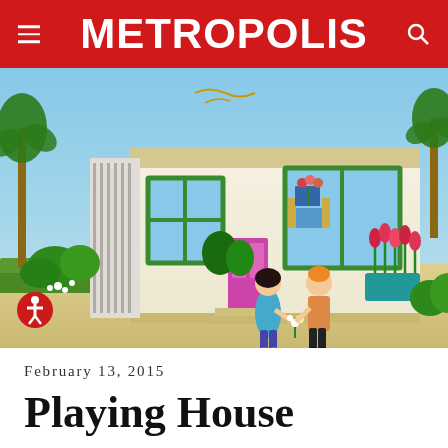METROPOLIS
[Figure (photo): A Playmobil toy scene showing a modern house with two toy figures in the foreground, one offering flowers to the other. The house has large windows with green frames, a flat roof, palm trees, and flowers around it.]
February 13, 2015
Playing House